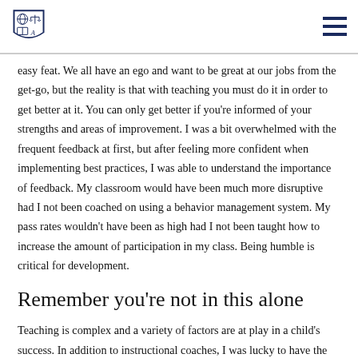[Institution logo and navigation menu]
easy feat. We all have an ego and want to be great at our jobs from the get-go, but the reality is that with teaching you must do it in order to get better at it. You can only get better if you're informed of your strengths and areas of improvement. I was a bit overwhelmed with the frequent feedback at first, but after feeling more confident when implementing best practices, I was able to understand the importance of feedback. My classroom would have been much more disruptive had I not been coached on using a behavior management system. My pass rates wouldn't have been as high had I not been taught how to increase the amount of participation in my class. Being humble is critical for development.
Remember you're not in this alone
Teaching is complex and a variety of factors are at play in a child's success. In addition to instructional coaches, I was lucky to have the support of an operations team, a dean team, and access to a special